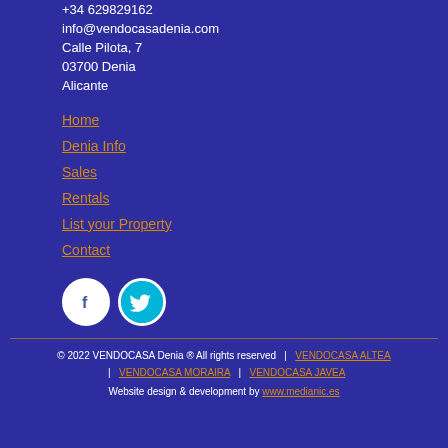+34 629829162
info@vendocasadenia.com
Calle Pilota, 7
03700 Denia
Alicante
Home
Denia Info
Sales
Rentals
List your Property
Contact
[Figure (logo): Facebook icon (white circle with F) and Twitter icon (cyan circle with bird)]
© 2022 VENDOCASA Denia ® All rights reserved | VENDOCASA ALTEA | VENDOCASA MORAIRA | VENDOCASA JAVEA Website design & development by www.medianic.es